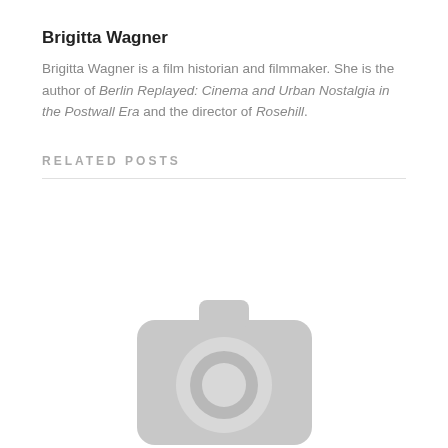Brigitta Wagner
Brigitta Wagner is a film historian and filmmaker. She is the author of Berlin Replayed: Cinema and Urban Nostalgia in the Postwall Era and the director of Rosehill.
RELATED POSTS
[Figure (illustration): Grey camera placeholder icon indicating a missing or loading image]